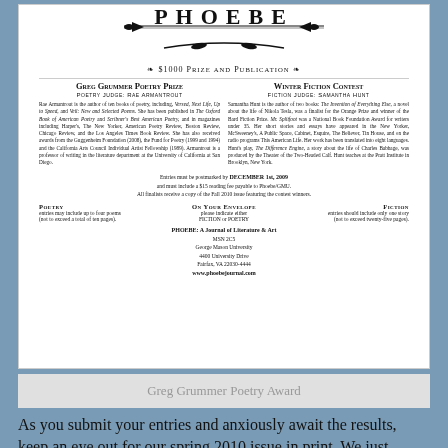[Figure (illustration): PHOEBE journal logo with decorative arrows and pen nibs, text PHOEBE in large serif letters]
❧ $1000 Prize and Publication ❧
Greg Grummer Poetry Prize
Poetry Judge: Rae Armantrout
Winter Fiction Contest
Fiction Judge: Samantha Hunt
Rae Armantrout is the author of ten books of poetry, including, Versed, Next Life, Up to Speed, and Veil: New and Selected Poems. She has been published in The Oxford Book of American Poetry and Scribner's Best American Poetry, and in magazines including Harper's, The New Yorker, American Poetry Review, Boston Review, Chicago Review, and the Los Angeles Times Book Review. She has also received awards from the Guggenheim Foundation (2008), the Fund for Poetry (1999 and 1994) and the California Arts Council Individual Artist Fellowship (1989). Armantrout is a professor of writing in the literature department at the University of California at San Diego.
Samantha Hunt is the author of two books: The Invention of Everything Else, a novel about the life of Nikola Tesla, was a finalist for the Orange Prize and winner of the Bard Fiction Prize. Mr. Splitfoot was a National Book Foundation Award for writers under 35. Her short stories and essays have appeared in the New Yorker, McSweeney's, A Public Space, Cabinet, Esquire, The Believer, Tin House, and on the radio programs This American Life. Her work has been translated into eight languages. Hunt's play, The Difference Engine, a story about the life of Charles Babbage, was produced by the Theater of the Two-Headed Calf. Hunt teaches at the Pratt Institute in Brooklyn, New York.
Entries must be postmarked by DECEMBER 1st, 2009 and must include a $15 reading fee payable to Phoebe/GMU. All finalists receive a copy of the Fall 2010 issue featuring the contest winners.
POETRY
entries may include up to four poems
(not to exceed a total of ten pages).
ON YOUR ENVELOPE
please indicate either
FICTION or POETRY
FICTION
entries should include only one story
(not to exceed twenty-five pages).
PHOEBE: A Journal of Literature & Art
MSN 2C5
George Mason University
4400 University Drive
Fairfax, VA 22030-4444
www.phoebejournal.com
Greg Grummer Poetry Award
As you submit your entries and anxiously await the results, keep an eye out for our spring 2010 issue in print. We just finished sending acceptance and